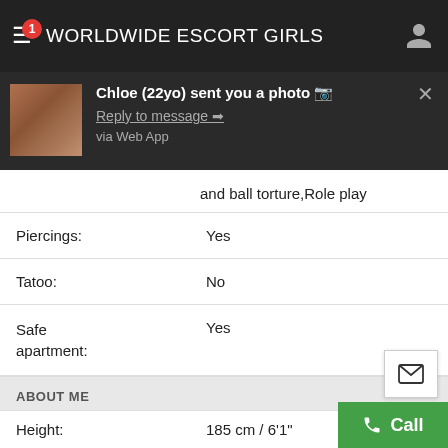WORLDWIDE ESCORT GIRLS
[Figure (screenshot): Notification popup: Chloe (22yo) sent you a photo, Reply to message, via Web App]
and ball torture,Role play
| Piercings: | Yes |
| Tatoo: | No |
| Safe apartment: | Yes |
ABOUT ME
This is one of our Korean girls which is young and beautiful.
than 150+ Italy, escort model
PERSONLIG INFO & BIO
| Height: | 185 cm / 6'1" |